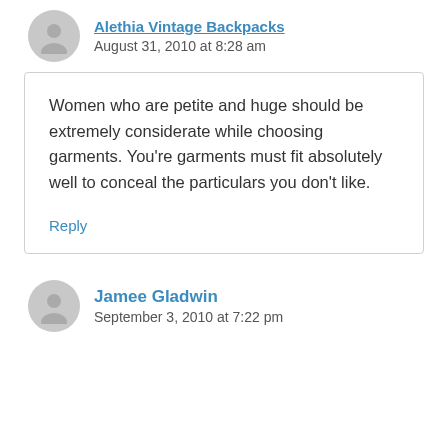Alethia Vintage Backpacks
August 31, 2010 at 8:28 am
Women who are petite and huge should be extremely considerate while choosing garments. You're garments must fit absolutely well to conceal the particulars you don't like.
Reply
Jamee Gladwin
September 3, 2010 at 7:22 pm